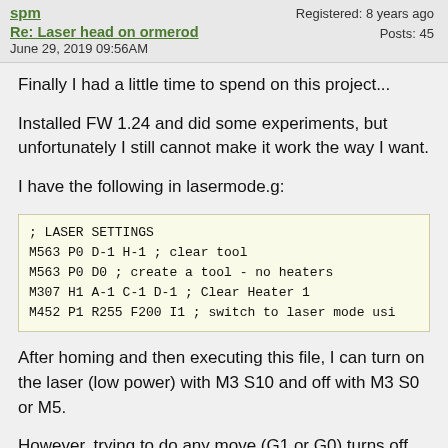spm — Registered: 8 years ago | Posts: 45
Re: Laser head on ormerod — June 29, 2019 09:56AM
Finally I had a little time to spend on this project...
Installed FW 1.24 and did some experiments, but unfortunately I still cannot make it work the way I want.
I have the following in lasermode.g:
; LASER SETTINGS
M563 P0 D-1 H-1 ; clear tool
M563 P0 D0 ; create a tool - no heaters
M307 H1 A-1 C-1 D-1 ; Clear Heater 1
M452 P1 R255 F200 I1 ; switch to laser mode usi
After homing and then executing this file, I can turn on the laser (low power) with M3 S10 and off with M3 S0 or M5.
However, trying to do any move (G1 or G0) turns off the laser, regardless of whether there is an S-parameter in the move command or not.